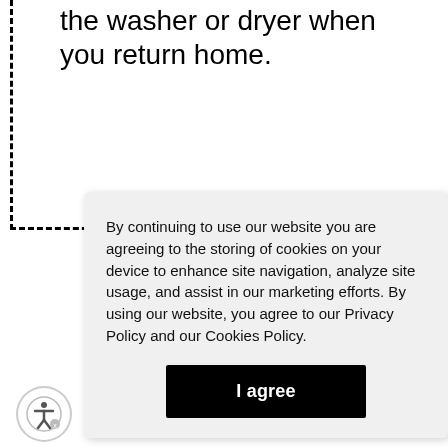the washer or dryer when you return home.
By continuing to use our website you are agreeing to the storing of cookies on your device to enhance site navigation, analyze site usage, and assist in our marketing efforts. By using our website, you agree to our Privacy Policy and our Cookies Policy.
I agree
[Figure (illustration): Accessibility icon — a circular button with a human figure silhouette and a small badge]